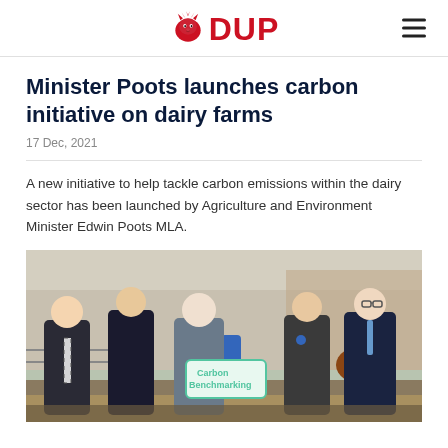DUP
Minister Poots launches carbon initiative on dairy farms
17 Dec, 2021
A new initiative to help tackle carbon emissions within the dairy sector has been launched by Agriculture and Environment Minister Edwin Poots MLA.
[Figure (photo): Five men standing inside a farm building, one holding a sign reading 'Carbon Benchmarking'. They are dressed in suits and smart casual attire with cattle visible in the background.]